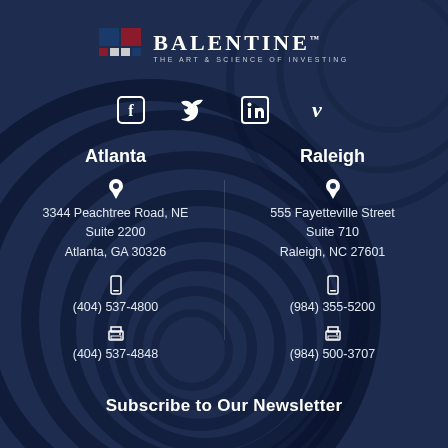[Figure (logo): Balentine logo with blue and red square icon and text 'BALENTINE THE ART & SCIENCE OF INVESTING']
[Figure (infographic): Social media icons row: Facebook, Twitter, LinkedIn, Vimeo]
Atlanta
Raleigh
3344 Peachtree Road, NE
Suite 2200
Atlanta, GA 30326
555 Fayetteville Street
Suite 710
Raleigh, NC 27601
(404) 537-4800
(984) 355-5200
(404) 537-4848
(984) 500-3707
Subscribe to Our Newsletter